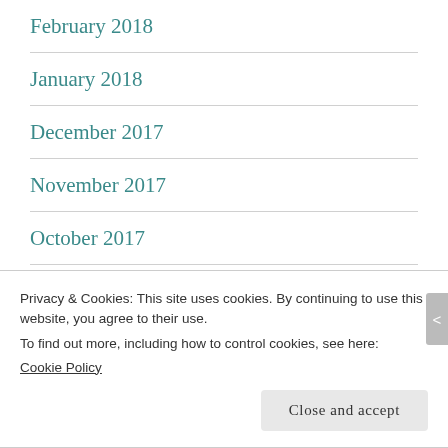February 2018
January 2018
December 2017
November 2017
October 2017
September 2017
August 2017
Privacy & Cookies: This site uses cookies. By continuing to use this website, you agree to their use.
To find out more, including how to control cookies, see here: Cookie Policy
Close and accept